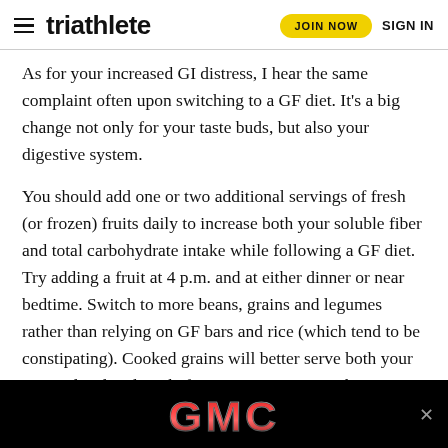triathlete | JOIN NOW | SIGN IN
As for your increased GI distress, I hear the same complaint often upon switching to a GF diet. It’s a big change not only for your taste buds, but also your digestive system.
You should add one or two additional servings of fresh (or frozen) fruits daily to increase both your soluble fiber and total carbohydrate intake while following a GF diet. Try adding a fruit at 4 p.m. and at either dinner or near bedtime. Switch to more beans, grains and legumes rather than relying on GF bars and rice (which tend to be constipating). Cooked grains will better serve both your energy level and gut before your morning workout, as they provide long-lasting, slowly digested complex carbohydrates. You can easily batch-cook them in advance so they are ready and waiting for you when you need them at
[Figure (logo): GMC advertisement banner at the bottom of the page showing GMC logo in red metallic letters on black background]